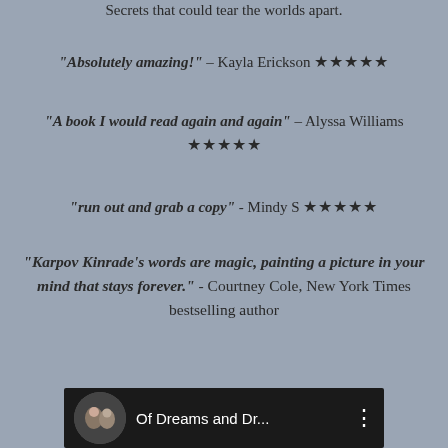Secrets that could tear the worlds apart.
"Absolutely amazing!" – Kayla Erickson ★★★★★
"A book I would read again and again" – Alyssa Williams ★★★★★
"run out and grab a copy" - Mindy S ★★★★★
"Karpov Kinrade's words are magic, painting a picture in your mind that stays forever." - Courtney Cole, New York Times bestselling author
Goodreads * Amazon
[Figure (screenshot): Black bottom bar showing a profile picture of two people and the text 'Of Dreams and Dr...' with a vertical dots menu icon]